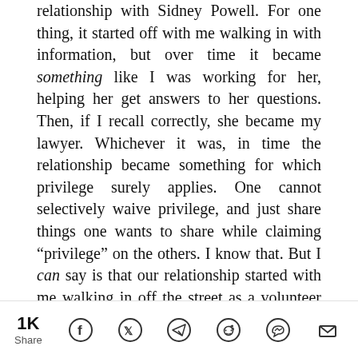relationship with Sidney Powell. For one thing, it started off with me walking in with information, but over time it became something like I was working for her, helping her get answers to her questions. Then, if I recall correctly, she became my lawyer. Whichever it was, in time the relationship became something for which privilege surely applies. One cannot selectively waive privilege, and just share things one wants to share while claiming “privilege” on the others. I know that. But I can say is that our relationship started with me walking in off the street as a volunteer with information, and so I can talk about that phase of the relationship, but in time it became formal enough I will not be able to say more.
Mayor Giuliani, however, never became my lawyer, and
1K Share